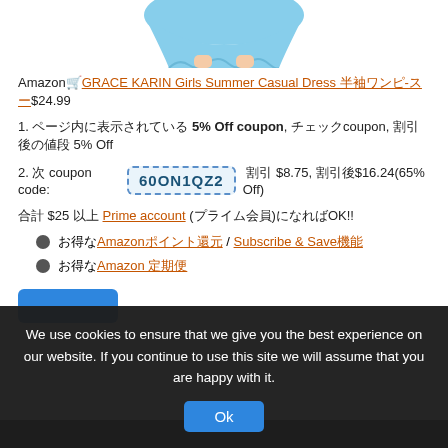[Figure (photo): Bottom portion of a light blue girls' summer dress on a model, showing the skirt/hem area, cropped]
Amazon🛒GRACE KARIN Girls Summer Casual Dress 半袖ワンピ-スー$24.99
1. ページ内に表示されている 5% Off coupon, チェックcoupon, 割引後の値段 5% Off
2. 次 coupon code: 60ON1QZ2 割引 $8.75, 割引後$16.24(65% Off)
合計 $25 以上 Prime account (プライム会員)になればOK!!
お得なAmazonポイント還元 / Subscribe & Save機能
お得なAmazon 定期便
We use cookies to ensure that we give you the best experience on our website. If you continue to use this site we will assume that you are happy with it.
Ok